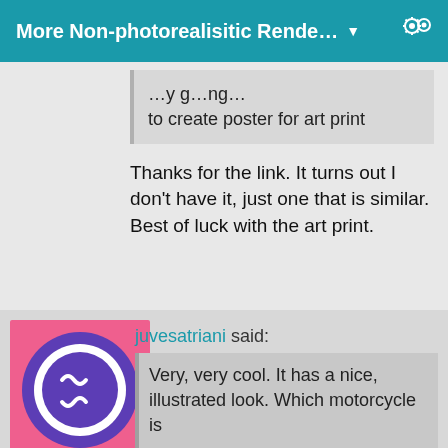More Non-photorealisitic Rende… ▼
to create poster for art print
Thanks for the link. It turns out I don't have it, just one that is similar. Best of luck with the art print.
Artini
Posts: 6,912
August 2021
juvesatriani said:
Very, very cool. It has a nice, illustrated look. Which motorcycle is